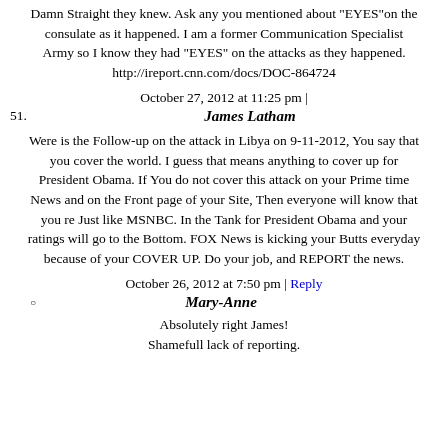Damn Straight they knew. Ask any you mentioned about "EYES"on the consulate as it happened. I am a former Communication Specialist Army so I know they had "EYES" on the attacks as they happened. http://ireport.cnn.com/docs/DOC-864724
October 27, 2012 at 11:25 pm |
51. James Latham
Were is the Follow-up on the attack in Libya on 9-11-2012, You say that you cover the world. I guess that means anything to cover up for President Obama. If You do not cover this attack on your Prime time News and on the Front page of your Site, Then everyone will know that you re Just like MSNBC. In the Tank for President Obama and your ratings will go to the Bottom. FOX News is kicking your Butts everyday because of your COVER UP. Do your job, and REPORT the news.
October 26, 2012 at 7:50 pm | Reply
Mary-Anne
Absolutely right James! Shamefull lack of reporting.